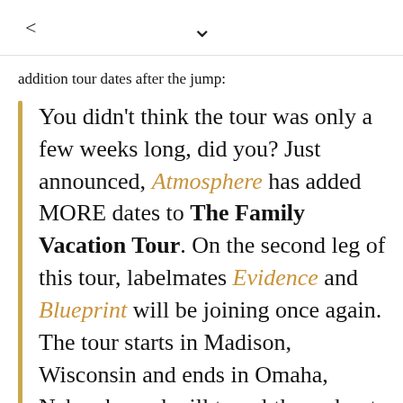< ∨
addition tour dates after the jump:
You didn't think the tour was only a few weeks long, did you? Just announced, Atmosphere has added MORE dates to The Family Vacation Tour. On the second leg of this tour, labelmates Evidence and Blueprint will be joining once again. The tour starts in Madison, Wisconsin and ends in Omaha, Nebraska and will travel throughout much of the South and Midwest of the United States